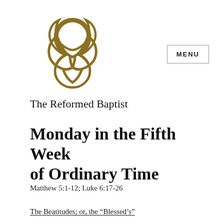[Figure (logo): Trinity knot / triquetra symbol in gold/dark gold color]
MENU
The Reformed Baptist
Monday in the Fifth Week of Ordinary Time
Matthew 5:1-12; Luke 6:17-26
The Beatitudes; or, the “Blessed’s”